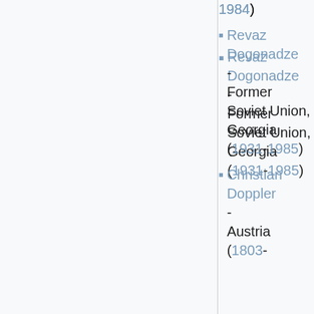1984)
Revaz Dogonadze - Former Soviet Union, Georgia (1931-1985)
Christian Doppler - Austria (1803-1853)